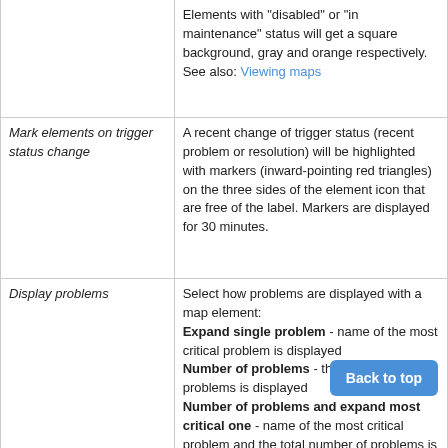|  |  |
| --- | --- |
|  | Elements with "disabled" or "in maintenance" status will get a square background, gray and orange respectively.
See also: Viewing maps |
| Mark elements on trigger status change | A recent change of trigger status (recent problem or resolution) will be highlighted with markers (inward-pointing red triangles) on the three sides of the element icon that are free of the label. Markers are displayed for 30 minutes. |
| Display problems | Select how problems are displayed with a map element:
Expand single problem - name of the most critical problem is displayed
Number of problems - the total number of problems is displayed
Number of problems and expand most critical one - name of the most critical problem and the total number of problems is displayed.
'Most critical' is determined based on problem severity and, if equal, problem event ID (higher ID or later problem displayed first). (Note that trigger ID |